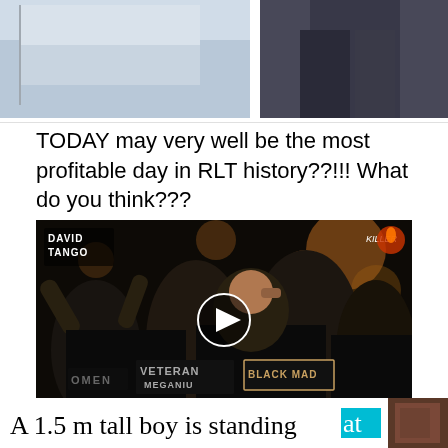[Figure (photo): Top portion of a photo showing a flag and a person in dark pants, cropped]
TODAY may very well be the most profitable day in RLT history??!!! What do you think???
[Figure (photo): Video thumbnail showing DJ Killer x David Tango - Anything music video with crowd of men in black t-shirts, with play button overlay. Logo 'David Tango' top left, 'Killer' top right. Text on shirts: OMEN, VETERAN MEGANIU, BLACK MAD.]
Dj Killer x David Tango - Anything
[Figure (screenshot): Partial preview of next post showing text 'A 1.5 m tall boy is standing at' with cyan highlight and partial image on right]